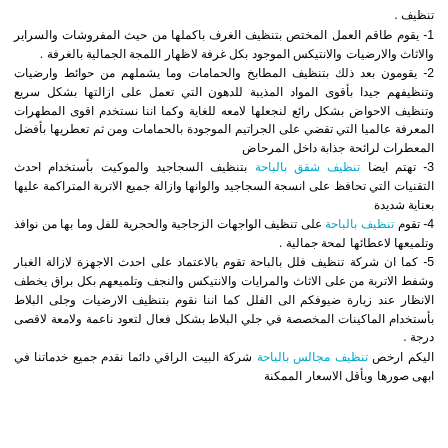تنظيف .
1- يقوم طاقم العمل المختص بتنظيف الغرف باكملها من حيث المفروشات والسراير والاثاث والارضيات والانتيكس الموجود بكل غرفة لاظهار اللمجة الجمالية بالغرفة .
2- يقومون بعد ذلك بتنظيف المطابخ والحمامات وما يشملهم من حوائط وارضيات وتنظيفهم جيدا بأقوى المواد المذيبة للدهون التي تعمل على ازالتها بشكل سريع وتنظيف الاحواض بشكل رائع لنجعلها لامعه للغاية وكما اننا نستخدم اقوى المطهرات المعرفة عالميا التي تقضي على الجراتيم الموجودة بالحمامات ومن ثم تعطريها بأفضل المعطرات لرائحة جذابة داخل المرحاض
3- تهتم ايضا تنظيف شقق بالباحة بتنظيف السجاجيد والموكيت بأستخدام احدث التقنيات التي تحافظ على انسجة السجاجيد والوانها وازالة جميع الاتربة المتراكمة عليها بعناية شديدة
4- تقوم تنظيف بالباحة على تنظيف الواجهات الزجاجية والحجرية للفل وما بها من نوافذ وتلميعها لاعطائها لمحة جمالية .
5- كما ان شركة تنظيف فلل بالباحة تقوم بالاعتماد على احدث الاجهزة لازالة الغبار وشفط الاتربة من على الاثاث والمرايات والانتيكس والنجف وتلميعهم بكل براق يخطف الانظار عند زيارة ضيوفكم الى الفلل كما اننا نقوم بتنظيف الارضيات وجلى البلاط بأستخدام الماكينات المخصصة في جلي البلاط بشكل فعال لتعود ناعمة ولامعة لاقصى درجة .
اليكم ارخص تنظيف مجالس بالباحة شركة البيت الراقي دائما نقدم جميع خدماتنا في ابهى صورها وبأقل الاسعار الممكنة